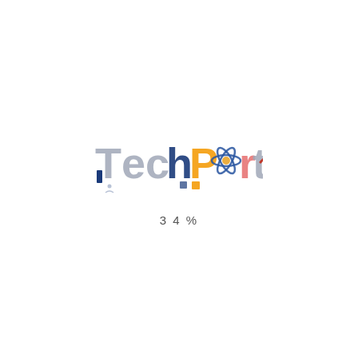[Figure (logo): TechPort logo: stylized text with 'Tech' in blue/grey and 'Port' with orange square dot on the P, an atom icon replacing the 'o', and a red curved shape with dots at the end. NASA TechPort loading screen.]
3 4 %